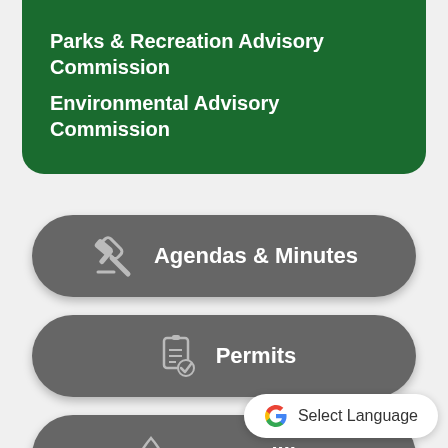Parks & Recreation Advisory Commission
Environmental Advisory Commission
[Figure (infographic): Gray pill-shaped button with gavel icon and text 'Agendas & Minutes']
[Figure (infographic): Gray pill-shaped button with permits/clipboard icon and text 'Permits']
[Figure (infographic): Gray pill-shaped button with water drop icon and text 'Water Billing' (partially cut off)]
Select Language